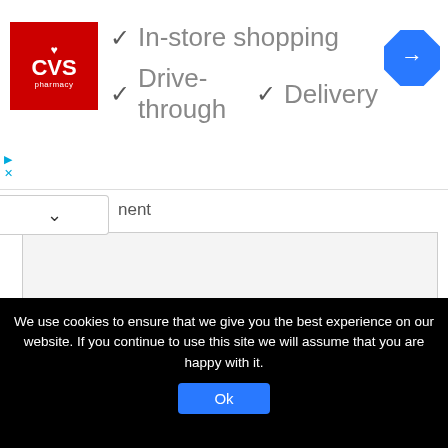[Figure (screenshot): CVS Pharmacy ad banner showing logo and features: In-store shopping, Drive-through, Delivery with checkmarks and a blue navigation direction icon]
nent
Name
Email
We use cookies to ensure that we give you the best experience on our website. If you continue to use this site we will assume that you are happy with it.